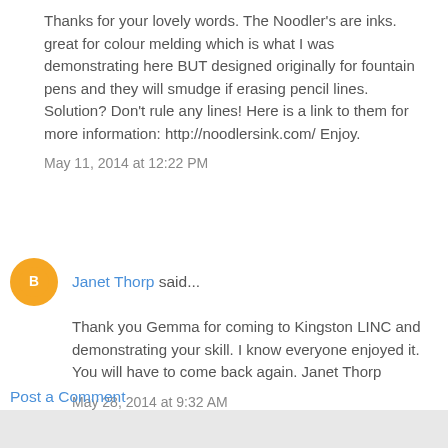Thanks for your lovely words. The Noodler's are inks. great for colour melding which is what I was demonstrating here BUT designed originally for fountain pens and they will smudge if erasing pencil lines. Solution? Don't rule any lines! Here is a link to them for more information: http://noodlersink.com/ Enjoy.
May 11, 2014 at 12:22 PM
Janet Thorp said...
Thank you Gemma for coming to Kingston LINC and demonstrating your skill. I know everyone enjoyed it. You will have to come back again. Janet Thorp
May 28, 2014 at 9:32 AM
Post a Comment